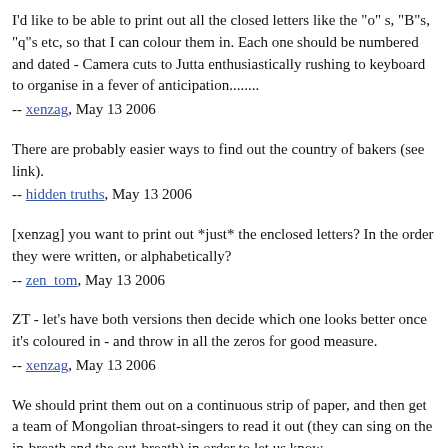I'd like to be able to print out all the closed letters like the "o" s, "B"s, "q"s etc, so that I can colour them in. Each one should be numbered and dated - Camera cuts to Jutta enthusiastically rushing to keyboard to organise in a fever of anticipation........
-- xenzag, May 13 2006
There are probably easier ways to find out the country of bakers (see link).
-- hidden truths, May 13 2006
[xenzag] you want to print out *just* the enclosed letters? In the order they were written, or alphabetically?
-- zen_tom, May 13 2006
ZT - let's have both versions then decide which one looks better once it's coloured in - and throw in all the zeros for good measure.
-- xenzag, May 13 2006
We should print them out on a continuous strip of paper, and then get a team of Mongolian throat-singers to read it out (they can sing on the in-breath and the out-breath) in order to let us know